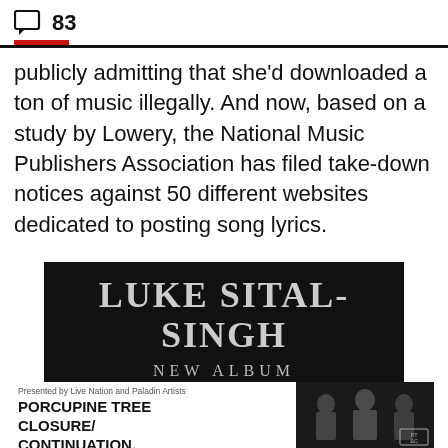83
publicly admitting that she'd downloaded a ton of music illegally. And now, based on a study by Lowery, the National Music Publishers Association has filed take-down notices against 50 different websites dedicated to posting song lyrics.
[Figure (photo): Advertisement for Luke Sital-Singh new album 'Dressing Like...' with artist name and album title on dark background]
[Figure (photo): Advertisement for Porcupine Tree Closure/Continuation concert, presented by Live Nation and Paladin Artists, with band photo on dark background]